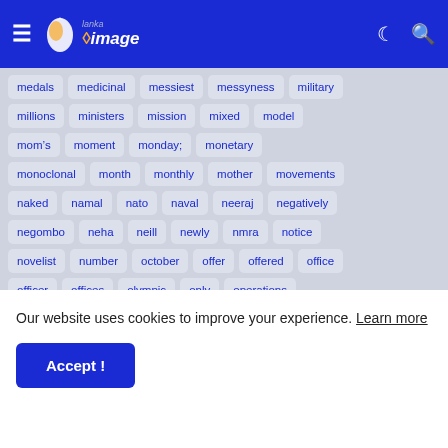Lanka Image - navigation bar with logo, hamburger menu, moon icon, search icon
medals
medicinal
messiest
messyness
military
millions
ministers
mission
mixed
model
mom&#8217;s
moment
monday;
monetary
monoclonal
month
monthly
mother
movements
naked
namal
nato
naval
neeraj
negatively
negombo
neha
neill
newly
nmra
notice
novelist
number
october
offer
offered
office
officer
offices
olympic
only
operations
Our website uses cookies to improve your experience. Learn more
Accept !